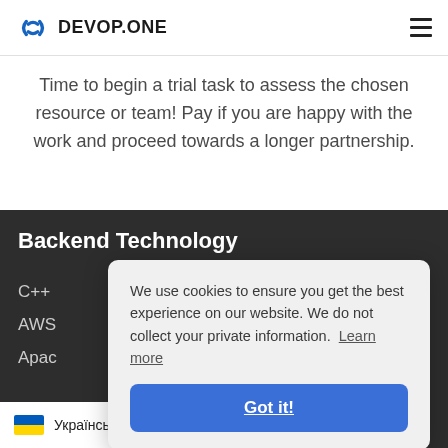DEVOP.ONE
Time to begin a trial task to assess the chosen resource or team! Pay if you are happy with the work and proceed towards a longer partnership.
Backend Technology
C++
AWS
Apache
AWS RDS
We use cookies to ensure you get the best experience on our website. We do not collect your private information. Learn more
Got it!
Українська